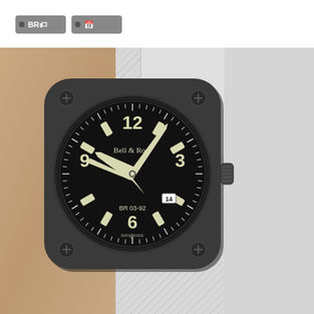[Figure (other): Two small tag/label icons with gray background and dot bullet, labeled 'BRO' and a calendar icon]
[Figure (photo): A hand holding a Bell & Ross BR 03-92 watch with a black square case, black dial showing numerals 12, 3, 6, 9, luminous hands and markers, 'Bell & Ross' text on dial, 'BR 03-92' text at bottom of dial, date window at 4 o'clock, white rubber strap, screws at four corners of case, crown on right side. 'SWISS MADE' text at bottom of dial.]